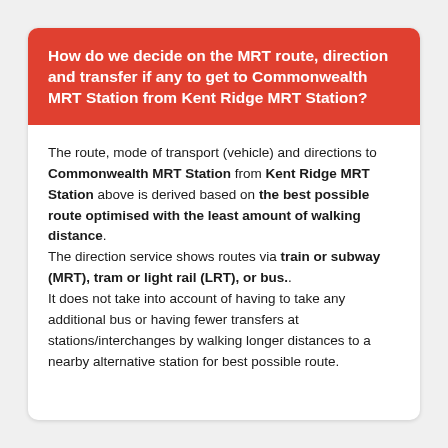How do we decide on the MRT route, direction and transfer if any to get to Commonwealth MRT Station from Kent Ridge MRT Station?
The route, mode of transport (vehicle) and directions to Commonwealth MRT Station from Kent Ridge MRT Station above is derived based on the best possible route optimised with the least amount of walking distance.
The direction service shows routes via train or subway (MRT), tram or light rail (LRT), or bus..
It does not take into account of having to take any additional bus or having fewer transfers at stations/interchanges by walking longer distances to a nearby alternative station for best possible route.